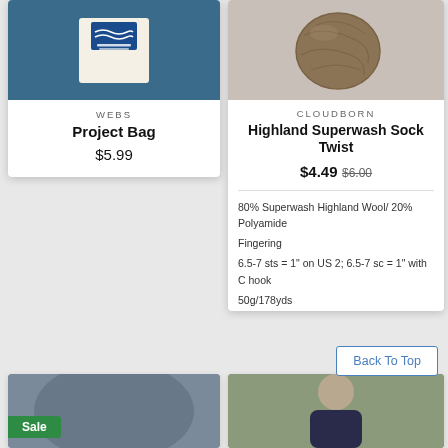[Figure (photo): WEBS Project Bag product image on blue background]
WEBS
Project Bag
$5.99
[Figure (photo): Brown yarn skein product photo on grey background]
CLOUDBORN
Highland Superwash Sock Twist
$4.49 $6.00
80% Superwash Highland Wool/ 20% Polyamide
Fingering
6.5-7 sts = 1" on US 2; 6.5-7 sc = 1" with C hook
50g/178yds
Back To Top
[Figure (photo): Partial product photo bottom left with Sale badge]
[Figure (photo): Partial product photo bottom right showing person wearing knitted item]